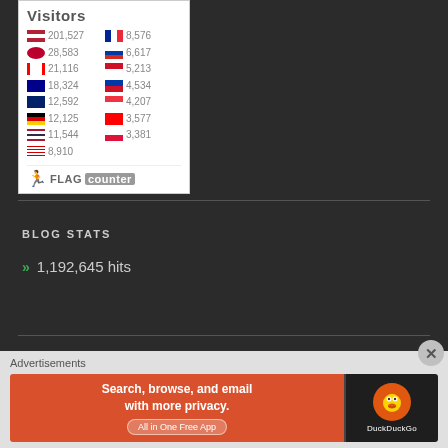[Figure (infographic): Flag Counter widget showing visitor counts by country. Visitors title at top, two columns of flag icons with visitor counts: US 201,527; FR 8,576; JP 28,583; RU 6,617; CA 21,116; ID 5,213; AU 18,324; PH 4,534; GB 12,592; SG 4,207; DE 12,125; TW 3,577; TH 11,544; PL 3,381; MY 8,910. Footer shows FLAG counter logo.]
BLOG STATS
1,192,645 hits
Advertisements
[Figure (screenshot): DuckDuckGo advertisement banner: orange background with text 'Search, browse, and email with more privacy. All in One Free App' on left side; dark panel on right with DuckDuckGo duck logo and 'DuckDuckGo' text.]